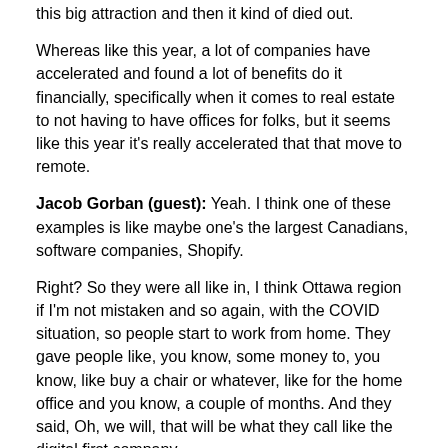this big attraction and then it kind of died out.
Whereas like this year, a lot of companies have accelerated and found a lot of benefits do it financially, specifically when it comes to real estate to not having to have offices for folks, but it seems like this year it's really accelerated that that move to remote.
Jacob Gorban (guest): Yeah. I think one of these examples is like maybe one's the largest Canadians, software companies, Shopify.
Right? So they were all like in, I think Ottawa region if I'm not mistaken and so again, with the COVID situation, so people start to work from home. They gave people like, you know, some money to, you know, like buy a chair or whatever, like for the home office and you know, a couple of months. And they said, Oh, we will, that will be what they call like the digital first company.
Right? Like, so like the new hires we will default to working remotely and maybe, yeah, maybe they can, there was another company in Canada in the news of that. Like, I think the largest software company, that's going to answer a price company. And they said, Oh, we will just, yeah, like many